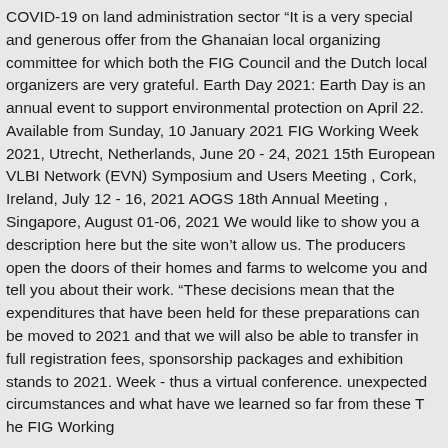COVID-19 on land administration sector “It is a very special and generous offer from the Ghanaian local organizing committee for which both the FIG Council and the Dutch local organizers are very grateful. Earth Day 2021: Earth Day is an annual event to support environmental protection on April 22. Available from Sunday, 10 January 2021 FIG Working Week 2021, Utrecht, Netherlands, June 20 - 24, 2021 15th European VLBI Network (EVN) Symposium and Users Meeting , Cork, Ireland, July 12 - 16, 2021 AOGS 18th Annual Meeting , Singapore, August 01-06, 2021 We would like to show you a description here but the site won’t allow us. The producers open the doors of their homes and farms to welcome you and tell you about their work. “These decisions mean that the expenditures that have been held for these preparations can be moved to 2021 and that we will also be able to transfer in full registration fees, sponsorship packages and exhibition stands to 2021. Week - thus a virtual conference. unexpected circumstances and what have we learned so far from these T he FIG Working